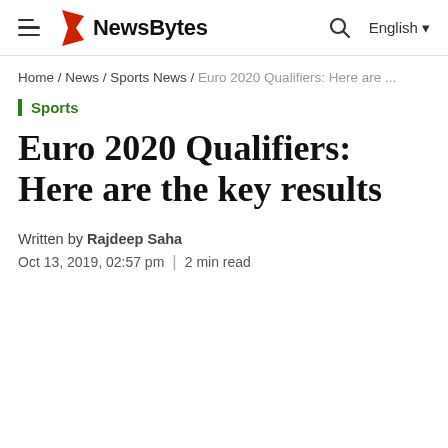NewsBytes
Home / News / Sports News / Euro 2020 Qualifiers: Here are ...
Sports
Euro 2020 Qualifiers: Here are the key results
Written by Rajdeep Saha
Oct 13, 2019, 02:57 pm | 2 min read